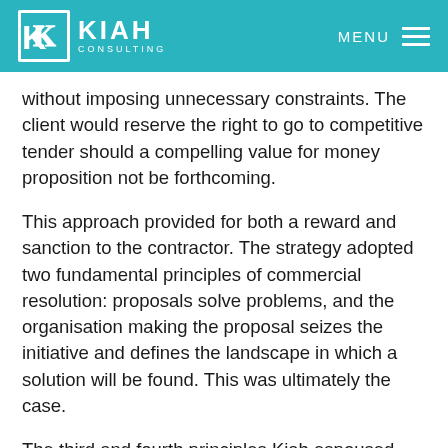KIAH CONSULTING | MENU
without imposing unnecessary constraints. The client would reserve the right to go to competitive tender should a compelling value for money proposition not be forthcoming.
This approach provided for both a reward and sanction to the contractor. The strategy adopted two fundamental principles of commercial resolution: proposals solve problems, and the organisation making the proposal seizes the initiative and defines the landscape in which a solution will be found. This was ultimately the case.
The third and fourth principles Kiah espoused were thorough preparation, and realistic expectations. Kiah needed to understand what